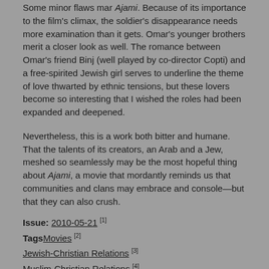Some minor flaws mar Ajami. Because of its importance to the film's climax, the soldier's disappearance needs more examination than it gets. Omar's younger brothers merit a closer look as well. The romance between Omar's friend Binj (well played by co-director Copti) and a free-spirited Jewish girl serves to underline the theme of love thwarted by ethnic tensions, but these lovers become so interesting that I wished the roles had been expanded and deepened.
Nevertheless, this is a work both bitter and humane. That the talents of its creators, an Arab and a Jew, meshed so seamlessly may be the most hopeful thing about Ajami, a movie that mordantly reminds us that communities and clans may embrace and console—but that they can also crush.
Issue: 2010-05-21 [1] Tags Movies [2] Jewish-Christian Relations [3] Muslim-Christian Relations [4]
Richard Alleva has been reviewing movies for Commonweal since 1990.
Please email comments to letters@commonwealmagazine.org [5] and join the